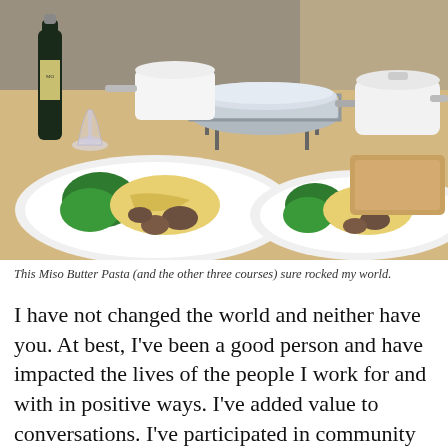[Figure (photo): A kitchen/dining table scene showing two white plates with pasta (tagliatelle) topped with mushrooms and greens (appears to be miso butter pasta with bok choy), various cooking pots and pans on a stand in the background, a wine bottle and wine glass, on a wooden table.]
This Miso Butter Pasta (and the other three courses) sure rocked my world.
I have not changed the world and neither have you. At best, I've been a good person and have impacted the lives of the people I work for and with in positive ways. I've added value to conversations. I've participated in community events. And I've touched individual lives, such as the injured pigeon I cared for, the kittens I adopted, the friends I stayed up late with and the